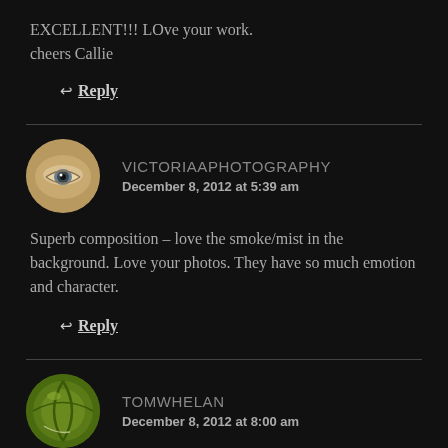EXCELLENT!!! LOve your work.
cheers Callie
↩ Reply
VICTORIAAPHOTOGRAPHY
December 8, 2012 at 5:39 am
Superb composition – love the smoke/mist in the background. Love your photos. They have so much emotion and character.
↩ Reply
TOMWHELAN
December 8, 2012 at 8:00 am